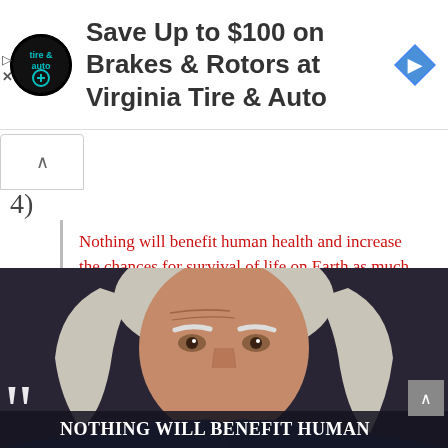[Figure (infographic): Advertisement banner for Virginia Tire & Auto showing company logo (circular black logo with 'tire & auto' text), ad headline 'Save Up to $100 on Brakes & Rotors at Virginia Tire & Auto', and a blue navigation arrow icon on the right.]
4)
Nothing will benefit human health and increase the chances for survival of life on Earth as much as the evolution to a vegetarian diet.

Albert Einstein
[Figure (illustration): Digital illustration of Albert Einstein's face with white hair and mustache on a dark background. At the bottom overlay text reads: NOTHING WILL BENEFIT HUMAN with large white quotation marks in lower left.]